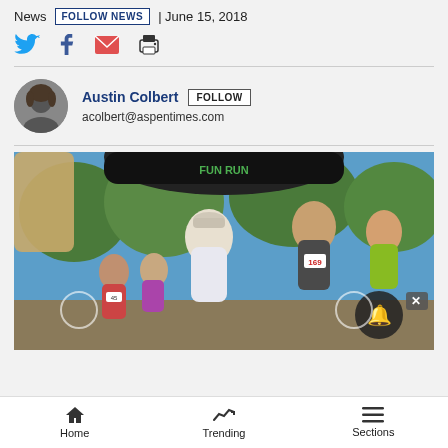News  FOLLOW NEWS  | June 15, 2018
[Figure (other): Social sharing icons: Twitter, Facebook, Email, Print]
Austin Colbert  FOLLOW
acolbert@aspentimes.com
[Figure (photo): Runners participating in a race passing under a large inflatable arch banner reading 'FUN RUN'. Runners wearing race bibs including number 169. Trees visible in background, sunny day.]
Home   Trending   Sections